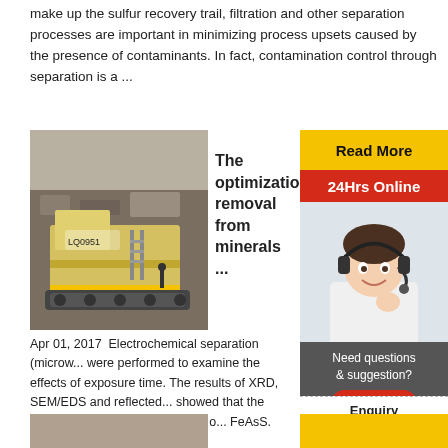make up the sulfur recovery trail, filtration and other separation processes are important in minimizing process upsets caused by the presence of contaminants. In fact, contamination control through separation is a ...
[Figure (photo): Large yellow industrial mining machine/excavator at a quarry or mine site]
The optimization removal from minerals ...
Apr 01, 2017  Electrochemical separation (microw... were performed to examine the effects of exposure time. The results of XRD, SEM/EDS and reflected... showed that the sulfur mineral mainly composed of... FeAsS.
[Figure (photo): Customer service agent woman with headset smiling]
Read More
24Hrs Online
Need questions & suggestion?
Chat Now
Enquiry
limingjlmofen